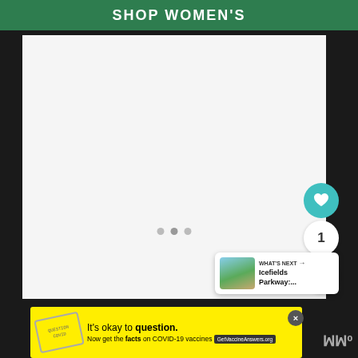SHOP WOMEN'S
[Figure (screenshot): White/light gray content area with three dot indicators at bottom center, a teal heart/like button, a count button showing 1, and a white share button on the right side. A 'WHAT'S NEXT' card shows a thumbnail image and text 'Icefields Parkway:...']
[Figure (screenshot): Yellow advertisement banner reading 'It's okay to question. Now get the facts on COVID-19 vaccines GetVaccineAnswers.org' with a circular stamp graphic and close button]
WWº